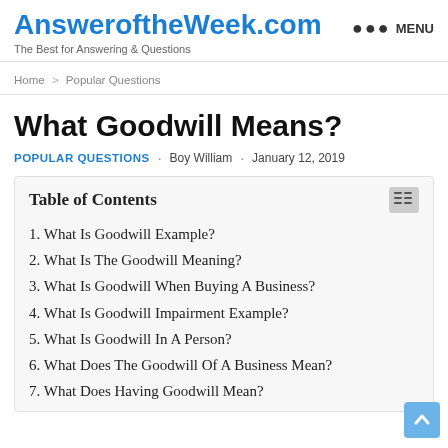AnsweroftheWeek.com — The Best for Answering & Questions — MENU
Home > Popular Questions
What Goodwill Means?
POPULAR QUESTIONS · Boy William · January 12, 2019
Table of Contents
1. What Is Goodwill Example?
2. What Is The Goodwill Meaning?
3. What Is Goodwill When Buying A Business?
4. What Is Goodwill Impairment Example?
5. What Is Goodwill In A Person?
6. What Does The Goodwill Of A Business Mean?
7. What Does Having Goodwill Mean?